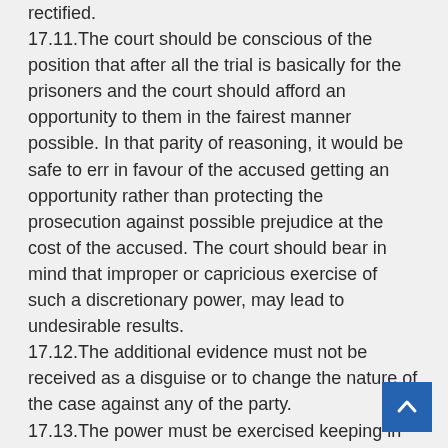rectified. 17.11.The court should be conscious of the position that after all the trial is basically for the prisoners and the court should afford an opportunity to them in the fairest manner possible. In that parity of reasoning, it would be safe to err in favour of the accused getting an opportunity rather than protecting the prosecution against possible prejudice at the cost of the accused. The court should bear in mind that improper or capricious exercise of such a discretionary power, may lead to undesirable results. 17.12.The additional evidence must not be received as a disguise or to change the nature of the case against any of the party. 17.13.The power must be exercised keeping in mind that the evidence that is likely to be tendered, would be germane to the issue involved and also ensure that an opportunity of rebuttal is given to the other party. 17. The power under Section 311 CrPC must therefore, be invoked by the court only in order to meet the ends of